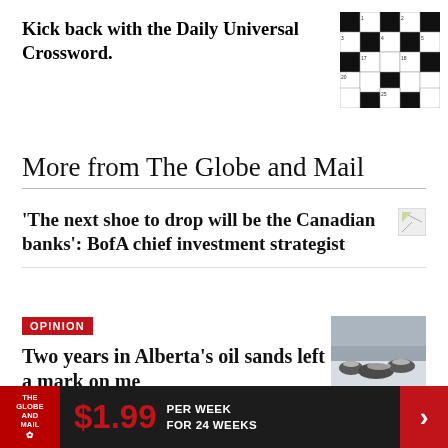Kick back with the Daily Universal Crossword.
[Figure (illustration): Crossword puzzle grid thumbnail, black and white squares]
More from The Globe and Mail
'The next shoe to drop will be the Canadian banks': BofA chief investment strategist
[Figure (illustration): Small broken image thumbnail]
OPINION
Two years in Alberta's oil sands left a mark on me
[Figure (photo): Snow-covered landscape with animals or rocks in Alberta oil sands region]
KATE BEATON
$1.99 PER WEEK FOR 24 WEEKS